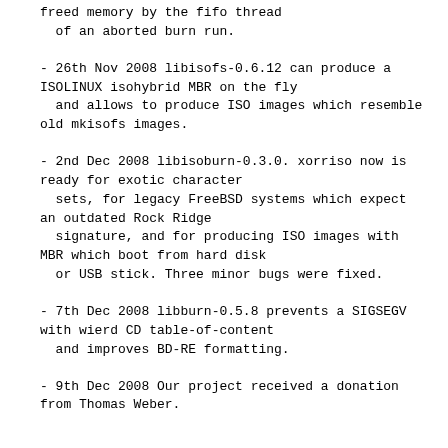freed memory by the fifo thread
  of an aborted burn run.
- 26th Nov 2008 libisofs-0.6.12 can produce a ISOLINUX isohybrid MBR on the fly
  and allows to produce ISO images which resemble old mkisofs images.
- 2nd Dec 2008 libisoburn-0.3.0. xorriso now is ready for exotic character
  sets, for legacy FreeBSD systems which expect an outdated Rock Ridge
  signature, and for producing ISO images with MBR which boot from hard disk
  or USB stick. Three minor bugs were fixed.
- 7th Dec 2008 libburn-0.5.8 prevents a SIGSEGV with wierd CD table-of-content
  and improves BD-RE formatting.
- 9th Dec 2008 Our project received a donation from Thomas Weber.